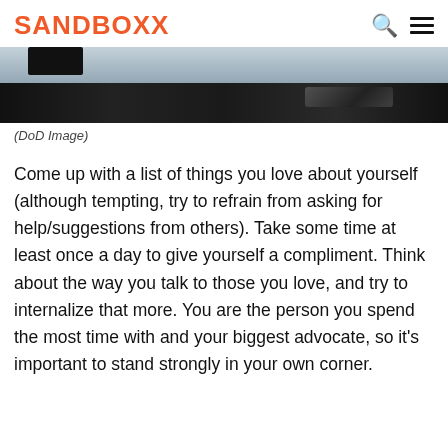SANDBOXX
[Figure (photo): A dark desk scene with glasses and what appears to be a laptop or device, in a blue-grey tone (DoD Image)]
(DoD Image)
Come up with a list of things you love about yourself (although tempting, try to refrain from asking for help/suggestions from others). Take some time at least once a day to give yourself a compliment. Think about the way you talk to those you love, and try to internalize that more. You are the person you spend the most time with and your biggest advocate, so it’s important to stand strongly in your own corner.